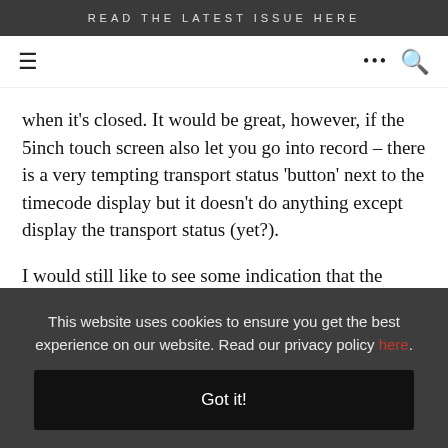READ THE LATEST ISSUE HERE
when it’s closed. It would be great, however, if the 5inch touch screen also let you go into record – there is a very tempting transport status ‘button’ next to the timecode display but it doesn’t do anything except display the transport status (yet?).
I would still like to see some indication that the viewfinder Zoom function is enabled, like an on-screen display of the word
This website uses cookies to ensure you get the best experience on our website. Read our privacy policy here.
Got it!